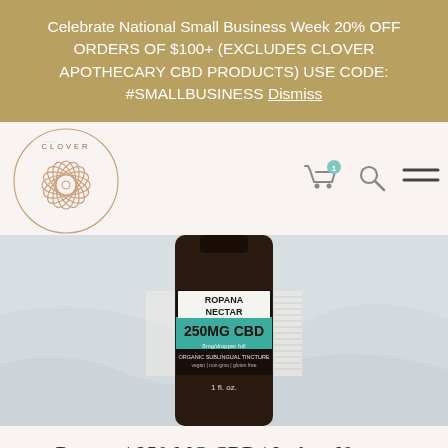Celebrate National Small Business Week 20% OFF ORDERS OF $100+ (EXCLUDES CLOVER APOTHECARY CBD PRODUCTS) USE CODE: #SMALLBUSINESS Dismiss
[Figure (logo): Clover Apothecary logo — circular rose gold geometric flower design with text CLOVER above]
[Figure (photo): Close-up photo of Ropana Nectar 250MG CBD organic sublingual tincture bottle, 1 fl oz, with teal and dark brown label on white marble surface]
Ropana | 250 MG CBD | Isolate Nectar
$29.00